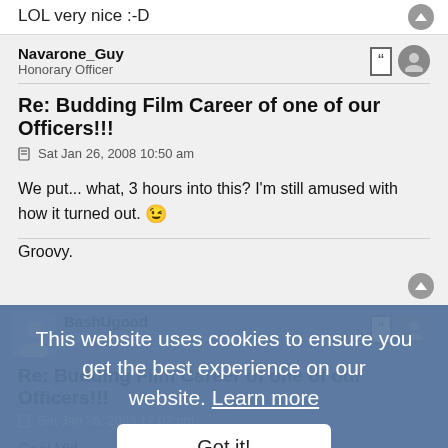LOL very nice :-D
Navarone_Guy
Honorary Officer
Re: Budding Film Career of one of our Officers!!!
Sat Jan 26, 2008 10:50 am
We put... what, 3 hours into this? I'm still amused with how it turned out. 😉
Groovy.
BashUgood
N3O Member
Re: Budding Film Career of one of our Officers!!!
Sat Jan 26, 2008 12:02 pm
Cool Vid...
Though it was very violent and gory.. is it rated R ?
This website uses cookies to ensure you get the best experience on our website. Learn more
Got it!